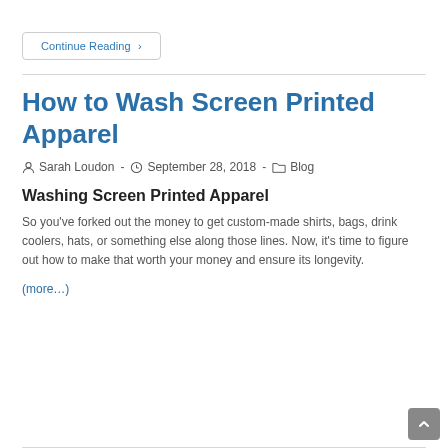Continue Reading ›
How to Wash Screen Printed Apparel
Sarah Loudon  ·  September 28, 2018  ·  Blog
Washing Screen Printed Apparel
So you've forked out the money to get custom-made shirts, bags, drink coolers, hats, or something else along those lines. Now, it's time to figure out how to make that worth your money and ensure its longevity.
(more…)